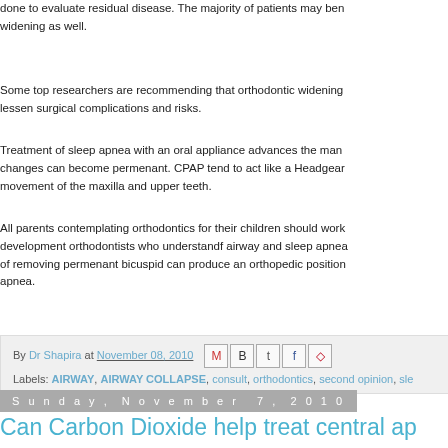done to evaluate residual disease. The majority of patients may benefit from widening as well.
Some top researchers are recommending that orthodontic widening lessen surgical complications and risks.
Treatment of sleep apnea with an oral appliance advances the mandible, changes can become permenant. CPAP tend to act like a Headgear movement of the maxilla and upper teeth.
All parents contemplating orthodontics for their children should work with development orthodontists who understandf airway and sleep apnea. of removing permenant bicuspid can produce an orthopedic position apnea.
By Dr Shapira at November 08, 2010 Labels: AIRWAY, AIRWAY COLLAPSE, consult, orthodontics, second opinion, sle...
Sunday, November 7, 2010
Can Carbon Dioxide help treat central apnea? Should CO2 be added to CPAP...